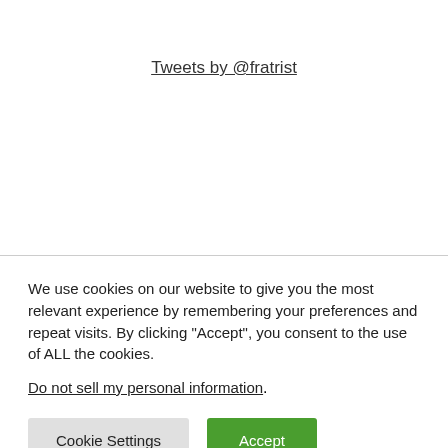Tweets by @fratrist
We use cookies on our website to give you the most relevant experience by remembering your preferences and repeat visits. By clicking “Accept”, you consent to the use of ALL the cookies.
Do not sell my personal information.
Cookie Settings
Accept